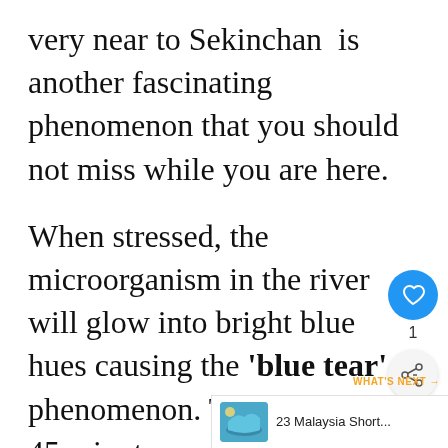very near to Sekinchan  is another fascinating phenomenon that you should not miss while you are here.
When stressed, the microorganism in the river will glow into bright blue hues causing the 'blue tear' phenomenon. The tour is for 45 minutes and only available at night time. For more info on rates and how to book the tour please visit this website.